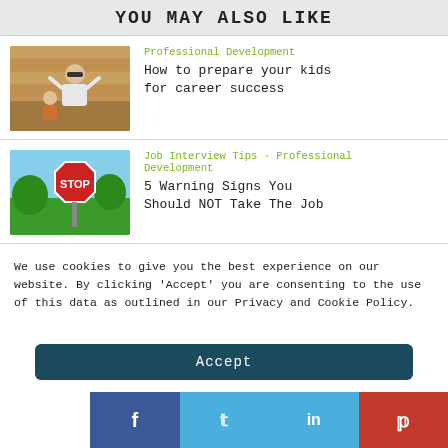YOU MAY ALSO LIKE
[Figure (photo): Man with sunglasses and child outdoors]
Professional Development
How to prepare your kids for career success
[Figure (photo): STOP sign outdoors with trees]
Job Interview Tips · Professional Development
5 Warning Signs You Should NOT Take The Job
We use cookies to give you the best experience on our website. By clicking 'Accept' you are consenting to the use of this data as outlined in our Privacy and Cookie Policy.
Accept
f  t  in  p